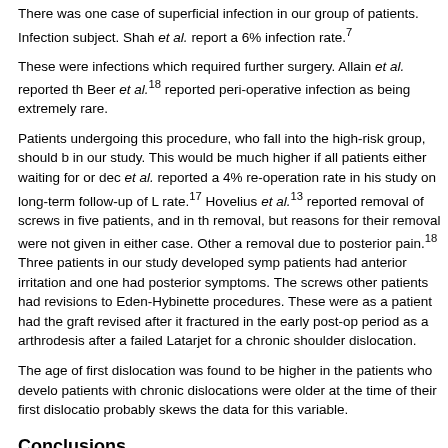There was one case of superficial infection in our group of patients. Infection subject. Shah et al. report a 6% infection rate.7
These were infections which required further surgery. Allain et al. reported th Beer et al.18 reported peri-operative infection as being extremely rare.
Patients undergoing this procedure, who fall into the high-risk group, should b in our study. This would be much higher if all patients either waiting for or dec et al. reported a 4% re-operation rate in his study on long-term follow-up of L rate.17 Hovelius et al.13 reported removal of screws in five patients, and in th removal, but reasons for their removal were not given in either case. Other a removal due to posterior pain.18 Three patients in our study developed symp patients had anterior irritation and one had posterior symptoms. The screws other patients had revisions to Eden-Hybinette procedures. These were as a patient had the graft revised after it fractured in the early post-op period as a arthrodesis after a failed Latarjet for a chronic shoulder dislocation.
The age of first dislocation was found to be higher in the patients who develo patients with chronic dislocations were older at the time of their first dislocatio probably skews the data for this variable.
Conclusions
Short length of follow-up and limited telephonic follow-up are limitations of thi information that can be gained from this research: